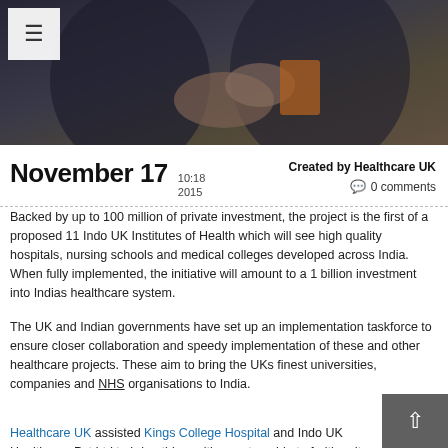[Figure (photo): Photo of people shaking hands at a formal event, top portion of a news article page]
November 17  10:18  2015  Created by Healthcare UK  0 comments
Backed by up to 100 million of private investment, the project is the first of a proposed 11 Indo UK Institutes of Health which will see high quality hospitals, nursing schools and medical colleges developed across India. When fully implemented, the initiative will amount to a 1 billion investment into Indias healthcare system.
The UK and Indian governments have set up an implementation taskforce to ensure closer collaboration and speedy implementation of these and other healthcare projects. These aim to bring the UKs finest universities, companies and NHS organisations to India.
Healthcare UK assisted Kings College Hospital and Indo UK Healthcare Pvt Ltd to bring this exciting partnership to fruition. It will continue to support the development of the Indo-UK Institutes of Health.
George Freeman MP, Minister for Life Sciences welcomed the